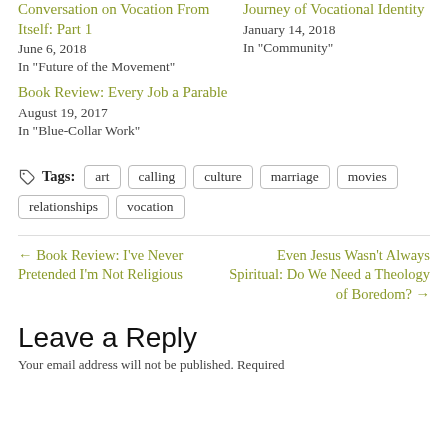Conversation on Vocation From Itself: Part 1
June 6, 2018
In "Future of the Movement"
Journey of Vocational Identity
January 14, 2018
In "Community"
Book Review: Every Job a Parable
August 19, 2017
In "Blue-Collar Work"
Tags: art  calling  culture  marriage  movies  relationships  vocation
← Book Review: I've Never Pretended I'm Not Religious
Even Jesus Wasn't Always Spiritual: Do We Need a Theology of Boredom? →
Leave a Reply
Your email address will not be published. Required